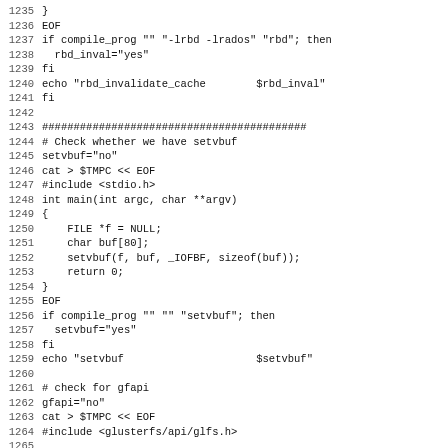Source code listing, lines 1235–1267, shell script with embedded C code for checking rbd and setvbuf features and gfapi.